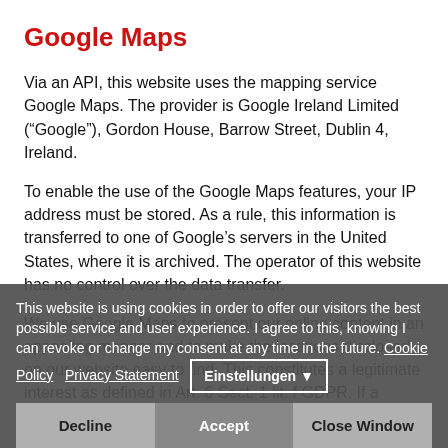Google Maps
Via an API, this website uses the mapping service Google Maps. The provider is Google Ireland Limited (“Google”), Gordon House, Barrow Street, Dublin 4, Ireland.
To enable the use of the Google Maps features, your IP address must be stored. As a rule, this information is transferred to one of Google’s servers in the United States, where it is archived. The operator of this website has no control over the data transfer.
We use Google Maps to present our online content in an appealing manner and to make the locations disclosed on our website easy to find. This constitutes a legitimate interest as defined in Art. 6 Sect. 1 lit. f GDPR. If a respective declaration of consent has been obtained, the data shall be processed ...
This website is using cookies in order to offer our visitors the best possible service and user experience. I agree to this, knowing I can revoke or change my consent at any time in the future. Cookie Policy  Privacy Statement  Einstellungen ▼
Decline  Accept  Close Window